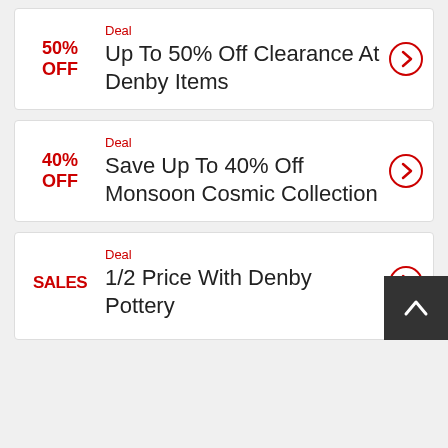50% OFF
Deal
Up To 50% Off Clearance At Denby Items
40% OFF
Deal
Save Up To 40% Off Monsoon Cosmic Collection
SALES
Deal
1/2 Price With Denby Pottery